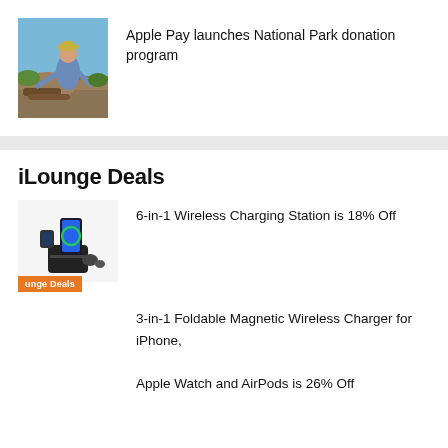[Figure (photo): Person in outdoor setting, appears to be hiking in a national park]
Apple Pay launches National Park donation program
iLounge Deals
[Figure (photo): 6-in-1 Wireless Charging Station product photo with iLounge Deals badge]
6-in-1 Wireless Charging Station is 18% Off
3-in-1 Foldable Magnetic Wireless Charger for iPhone, Apple Watch and AirPods is 26% Off